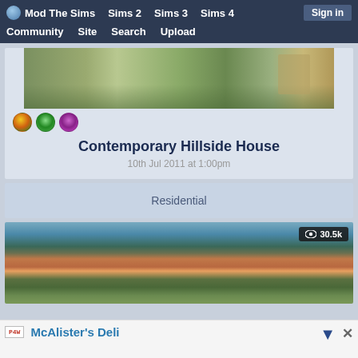Mod The Sims | Sims 2 | Sims 3 | Sims 4 | Sign in | Community | Site | Search | Upload
[Figure (screenshot): Top portion of a Sims 3 contemporary hillside house exterior showing green lawn and building facade with three Sims game icons below]
Contemporary Hillside House
10th Jul 2011 at 1:00pm
Residential
[Figure (screenshot): Sims 3 house with terra cotta conical roof tower near water with trees, showing 30.5k views counter]
McAlister's Deli